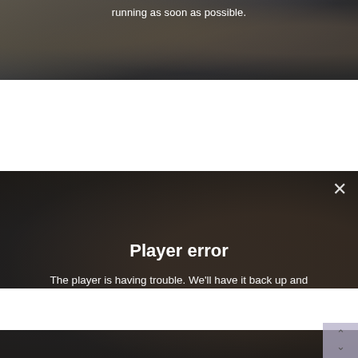[Figure (screenshot): Top portion of a video player showing blurred background scene with text overlay 'running as soon as possible.' in white at the top center]
[Figure (screenshot): Video player screenshot showing a woman with glasses and long hair sitting in an office/room environment, with a 'Player error' overlay dialog. The overlay shows a close (X) button in the top right, bold title 'Player error', and message 'The player is having trouble. We'll have it back up and running as soon as possible.']
[Figure (screenshot): Bottom strip of another video player showing a dark scene, partially visible, with a scroll-to-top button (up/down arrows) in the bottom right corner]